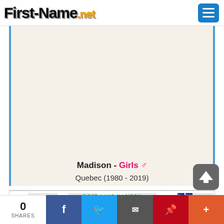First-Name.net
Madison - Girls ♂ Quebec (1980 - 2019)
[Figure (line-chart): Line chart showing the popularity of the first name Madison in Quebec from 1980 to 2019. Y-axis shows frequency (Fréq). The line rises significantly in later years with peaks around 2005-2010.]
0 SHARES | Facebook | Twitter | Email | Pinterest | +